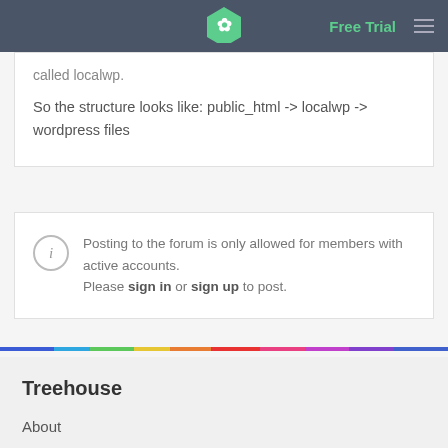Free Trial
called localwp.
So the structure looks like: public_html -> localwp -> wordpress files
Posting to the forum is only allowed for members with active accounts. Please sign in or sign up to post.
Treehouse
About
Blog